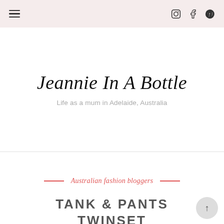Navigation header with hamburger menu and social icons (Instagram, Facebook, Pinterest)
Jeannie In A Bottle
Life as a mum in Adelaide, Australia
Australian fashion bloggers
TANK & PANTS TWINSET